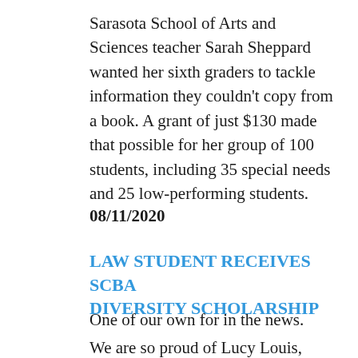Sarasota School of Arts and Sciences teacher Sarah Sheppard wanted her sixth graders to tackle information they couldn't copy from a book. A grant of just $130 made that possible for her group of 100 students, including 35 special needs and 25 low-performing students.
08/11/2020
LAW STUDENT RECEIVES SCBA DIVERSITY SCHOLARSHIP
One of our own for in the news.
We are so proud of Lucy Louis, SSA+S